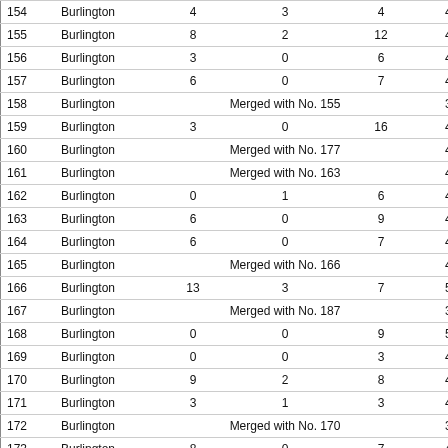|  | Burlington |  |  |  |  |
| --- | --- | --- | --- | --- | --- |
| 154 | Burlington | 4 | 3 | 4 | 476 |
| 155 | Burlington | 8 | 2 | 12 | 431 |
| 156 | Burlington | 3 | 0 | 6 | 465 |
| 157 | Burlington | 6 | 0 | 7 | 472 |
| 158 | Burlington |  | Merged with No. 155 |  | 393 |
| 159 | Burlington | 3 | 0 | 16 | 470 |
| 160 | Burlington |  | Merged with No. 177 |  | 430 |
| 161 | Burlington |  | Merged with No. 163 |  | 406 |
| 162 | Burlington | 0 | 1 | 6 | 484 |
| 163 | Burlington | 6 | 0 | 9 | 482 |
| 164 | Burlington | 6 | 0 | 7 | 465 |
| 165 | Burlington |  | Merged with No. 166 |  | 482 |
| 166 | Burlington | 13 | 3 | 7 | 517 |
| 167 | Burlington |  | Merged with No. 187 |  | 356 |
| 168 | Burlington | 0 | 0 | 9 | 551 |
| 169 | Burlington | 0 | 0 | 3 | 457 |
| 170 | Burlington | 9 | 2 | 8 | 434 |
| 171 | Burlington | 3 | 1 | 3 | 443 |
| 172 | Burlington |  | Merged with No. 170 |  | 397 |
| 173 | Burlington | 8 | 0 | 7 | 419 |